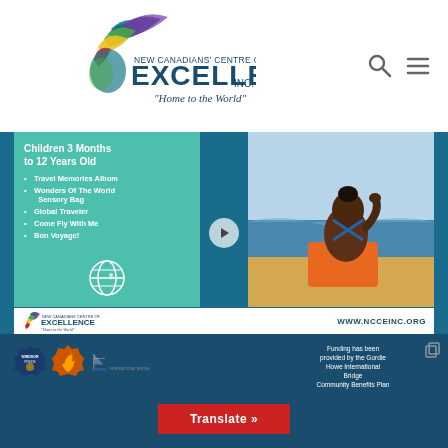[Figure (logo): New Canadians Centre of Excellence Inc. logo with colorful bird/feather icon and tagline 'Home to the World']
[Figure (screenshot): Promotional banner on teal background: 'Children 3 Months to 12 Years Old' with bullet points: Travel Memories Album, Wonders Of The World Sensory Bag, Global Traveler, Come Fly With Me, Bon Voyage!. Right side shows child at beach. Bottom shows NCCEINC logo and www.ncceinc.org]
[Figure (screenshot): Dark blue banner with Windsor Police, fire department, and Gordie Howe International Bridge logos, text 'Funding has been provided by the Gordie Howe International Bridge Community Benefits Plan', and red Translate button]